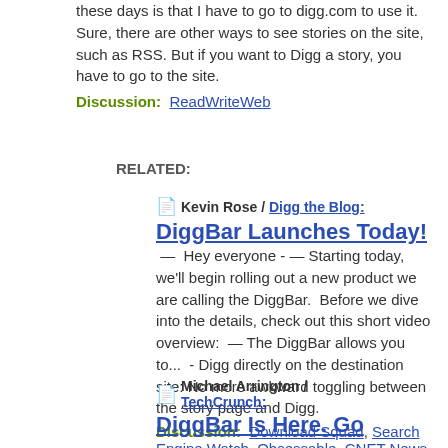these days is that I have to go to digg.com to use it.  Sure, there are other ways to see stories on the site, such as RSS.  But if you want to Digg a story, you have to go to the site.
Discussion:  ReadWriteWeb
RELATED:
Kevin Rose / Digg the Blog: DiggBar Launches Today! — Hey everyone - — Starting today, we'll begin rolling out a new product we are calling the DiggBar.  Before we dive into the details, check out this short video overview:  — The DiggBar allows you to...  - Digg directly on the destination site: No more awkward toggling between the story page and Digg.
Discussion:  Download Squad, Search Engine Watch, Obsessable, CNET News, Mashable! and Loic Le Meur Blog, Thanks: atul
Michael Arrington / TechCrunch: DiggBar Is Here. Go